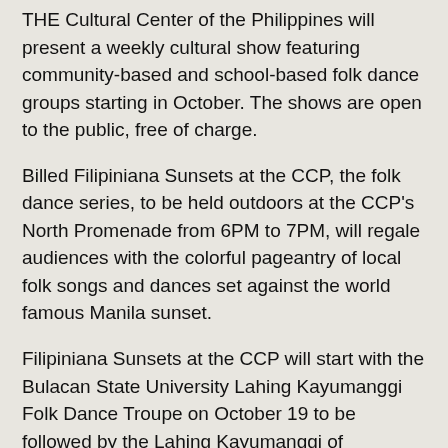THE Cultural Center of the Philippines will present a weekly cultural show featuring community-based and school-based folk dance groups starting in October. The shows are open to the public, free of charge.
Billed Filipiniana Sunsets at the CCP, the folk dance series, to be held outdoors at the CCP's North Promenade from 6PM to 7PM, will regale audiences with the colorful pageantry of local folk songs and dances set against the world famous Manila sunset.
Filipiniana Sunsets at the CCP will start with the Bulacan State University Lahing Kayumanggi Folk Dance Troupe on October 19 to be followed by the Lahing Kayumanggi of Pagsanjan, Laguna on October 26. Other groups slated to perform are: Letran University Folk Dance Troupe on November 9; Mga Anak ni Inang Daigdig on November 16; CEU Dance Troupe on November 23; Sindaw Philippines Performing Arts Guild on December 7; and UP Filipiniana Folk Dance Troupe on December 14 and December 21.
For more information, please call CCP Dance Division at tel. 832-1125 local 1622.